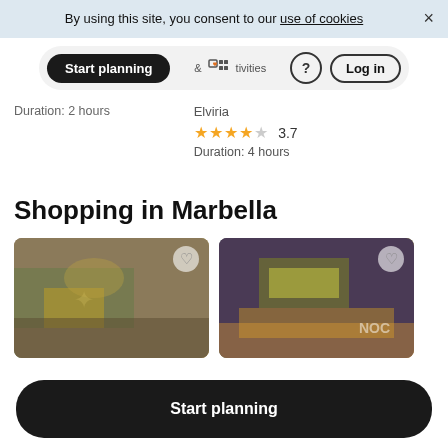By using this site, you consent to our use of cookies ×
[Figure (screenshot): Navigation bar with Start planning pill, icons, and Log in button]
Duration: 2 hours
Elviria
★★★★☆ 3.7
Duration: 4 hours
Shopping in Marbella
[Figure (photo): Two partial thumbnail photos of shopping venues in Marbella with heart/favorite icons]
Start planning